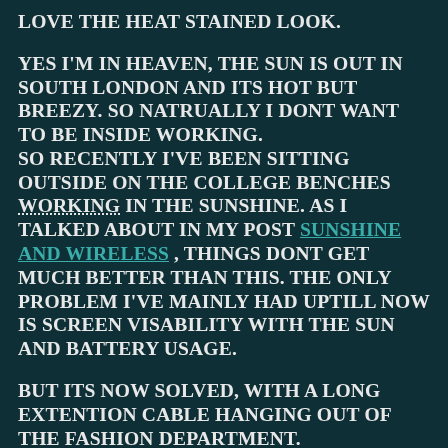LOVE THE HEAT STAINED LOOK.
YES I'M IN HEAVEN, THE SUN IS OUT IN SOUTH LONDON AND ITS HOT BUT BREEZY. SO NATRUALLY I DONT WANT TO BE INSIDE WORKING.
SO RECENTLY I'VE BEEN SITTING OUTSIDE ON THE COLLEGE BENCHES WORKING IN THE SUNSHINE. AS I TALKED ABOUT IN MY POST SUNSHINE AND WIRELESS , THINGS DONT GET MUCH BETTER THAN THIS. THE ONLY PROBLEM I'VE MAINLY HAD UPTILL NOW IS SCREEN VISABILITY WITH THE SUN AND BATTERY USAGE.
BUT ITS NOW SOLVED, WITH A LONG EXTENTION CABLE HANGING OUT OF THE FASHION DEPARTMENT.